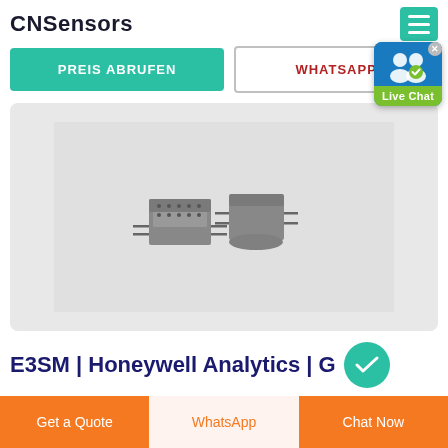CNSensors
PREIS ABRUFEN
WHATSAPP
[Figure (photo): Two small humidity/temperature sensor components (grey rectangular chips with pins) on a light grey background]
E3SM | Honeywell Analytics | G
Get a Quote
WhatsApp
Chat Now